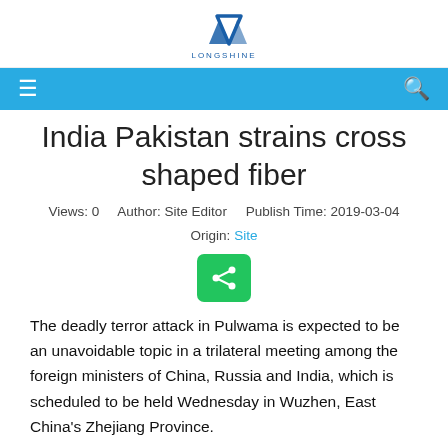LONGSHINE
India Pakistan strains cross shaped fiber
Views: 0    Author: Site Editor    Publish Time: 2019-03-04
Origin: Site
[Figure (other): Green share button icon]
The deadly terror attack in Pulwama is expected to be an unavoidable topic in a trilateral meeting among the foreign ministers of China, Russia and India, which is scheduled to be held Wednesday in Wuzhen, East China's Zhejiang Province.
Many wonder whether China will mediate in disputes between India and Pakistan, being that Beijing is an important economic partner of India and an all-weather friend of the latter.